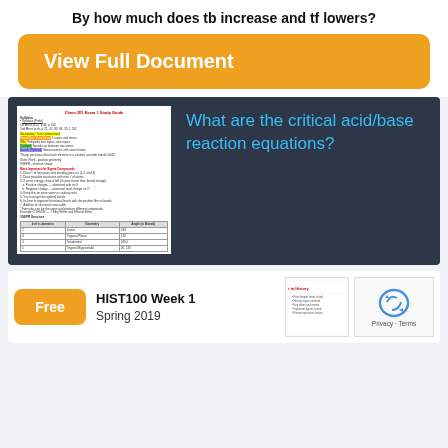By how much does tb increase and tf lowers?
[Figure (screenshot): Orange button labeled 'View Full Document']
[Figure (screenshot): Document preview thumbnail showing a Chem 201 Exam 1 Study Guide with highlighted text and a table]
What are the critical acid/base reaction equations?
Free
HIST100 Week 1
Spring 2019
[Figure (screenshot): reCAPTCHA widget — Privacy · Terms]